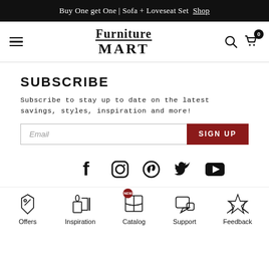Buy One get One | Sofa + Loveseat Set Shop
[Figure (logo): Furniture Mart logo with hamburger menu and cart icon]
SUBSCRIBE
Subscribe to stay up to date on the latest savings, styles, inspiration and more!
[Figure (screenshot): Email input field with SIGN UP button]
[Figure (infographic): Social media icons: Facebook, Instagram, Pinterest, Twitter, YouTube]
[Figure (infographic): Bottom navigation: Offers, Inspiration, Catalog (NEW), Support, Feedback]